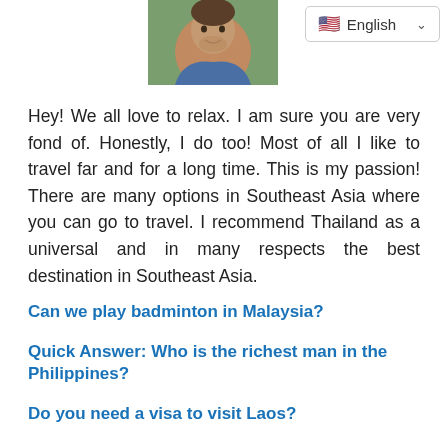[Figure (photo): Photo of a man outdoors, cropped to head and shoulders]
[Figure (screenshot): Language selector dropdown showing English with US flag and chevron]
Hey! We all love to relax. I am sure you are very fond of. Honestly, I do too! Most of all I like to travel far and for a long time. This is my passion! There are many options in Southeast Asia where you can go to travel. I recommend Thailand as a universal and in many respects the best destination in Southeast Asia.
Can we play badminton in Malaysia?
Quick Answer: Who is the richest man in the Philippines?
Do you need a visa to visit Laos?
What does JKJ mean Cambodia?
Quick Answer: Can I get visa on arrival in Kuala Lumpur?
Your question: How much is landed property tax Singapore?